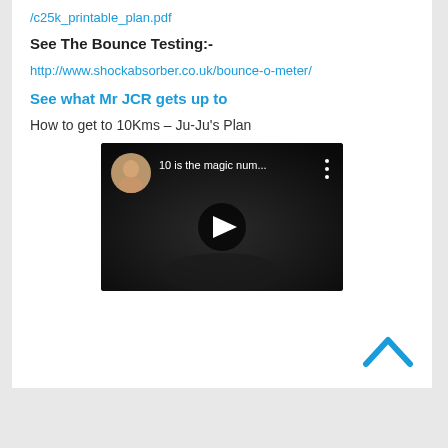/c25k_printable_plan.pdf
See The Bounce Testing:-
http://www.shockabsorber.co.uk/bounce-o-meter/
See what Mr JCR gets up to
How to get to 10Kms – Ju-Ju's Plan
[Figure (screenshot): YouTube video thumbnail showing a woman and the title '10 is the magic num...' with a play button overlay on a dark background]